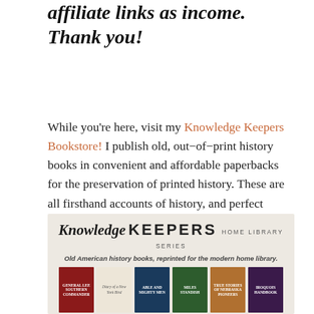affiliate links as income. Thank you!
While you're here, visit my Knowledge Keepers Bookstore! I publish old, out-of-print history books in convenient and affordable paperbacks for the preservation of printed history. These are all firsthand accounts of history, and perfect supplements for your homeschool studies!
[Figure (illustration): Knowledge Keepers Home Library Series banner showing the logo and six book covers including General Lee Southern Commander, Diary of a New York Bird, Able and Mighty Men, Miles Standish, True Stories of Nebraska Pioneers, and Iroquois Handbook. Subtitle reads: Old American history books, reprinted for the modern home library.]